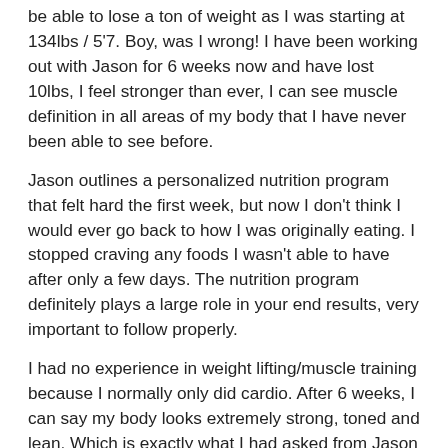be able to lose a ton of weight as I was starting at 134lbs / 5'7. Boy, was I wrong! I have been working out with Jason for 6 weeks now and have lost 10lbs, I feel stronger than ever, I can see muscle definition in all areas of my body that I have never been able to see before.
Jason outlines a personalized nutrition program that felt hard the first week, but now I don't think I would ever go back to how I was originally eating. I stopped craving any foods I wasn't able to have after only a few days. The nutrition program definitely plays a large role in your end results, very important to follow properly.
I had no experience in weight lifting/muscle training because I normally only did cardio. After 6 weeks, I can say my body looks extremely strong, toned and lean. Which is exactly what I had asked from Jason in our first meeting!
5 stars all the way, I will continue working out with Jason, because I love the way I feel and look! If you tell him what your end goal is, however crazy you may think it seems, he will